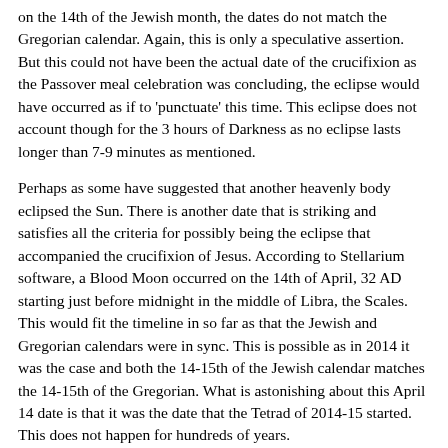on the 14th of the Jewish month, the dates do not match the Gregorian calendar. Again, this is only a speculative assertion. But this could not have been the actual date of the crucifixion as the Passover meal celebration was concluding, the eclipse would have occurred as if to 'punctuate' this time. This eclipse does not account though for the 3 hours of Darkness as no eclipse lasts longer than 7-9 minutes as mentioned.
Perhaps as some have suggested that another heavenly body eclipsed the Sun. There is another date that is striking and satisfies all the criteria for possibly being the eclipse that accompanied the crucifixion of Jesus. According to Stellarium software, a Blood Moon occurred on the 14th of April, 32 AD starting just before midnight in the middle of Libra, the Scales. This would fit the timeline in so far as that the Jewish and Gregorian calendars were in sync. This is possible as in 2014 it was the case and both the 14-15th of the Jewish calendar matches the 14-15th of the Gregorian. What is astonishing about this April 14 date is that it was the date that the Tetrad of 2014-15 started. This does not happen for hundreds of years.
What is also spectacular to consider is that in the ancient rendition of the Mazzaroth, Libra was actually an altar as in a slab for a sacrifice. If the